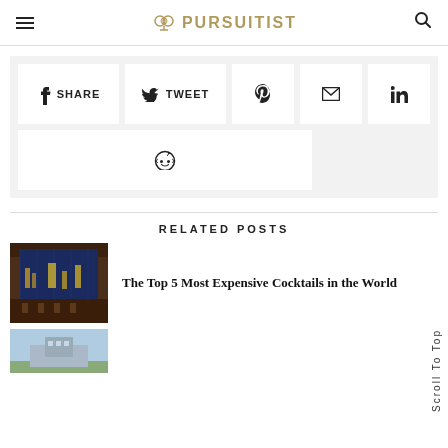PURSUITIST
[Figure (screenshot): Social share buttons row: Facebook SHARE, Twitter TWEET, Pinterest icon, Email icon, LinkedIn icon, and Reddit icon below]
RELATED POSTS
[Figure (photo): Bar interior at night with large windows and city view]
The Top 5 Most Expensive Cocktails in the World
[Figure (photo): Partial view of second related post thumbnail - outdoor scene]